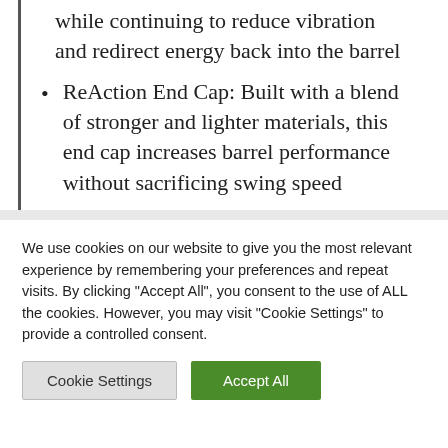while continuing to reduce vibration and redirect energy back into the barrel
ReAction End Cap: Built with a blend of stronger and lighter materials, this end cap increases barrel performance without sacrificing swing speed
We use cookies on our website to give you the most relevant experience by remembering your preferences and repeat visits. By clicking "Accept All", you consent to the use of ALL the cookies. However, you may visit "Cookie Settings" to provide a controlled consent.
Cookie Settings | Accept All